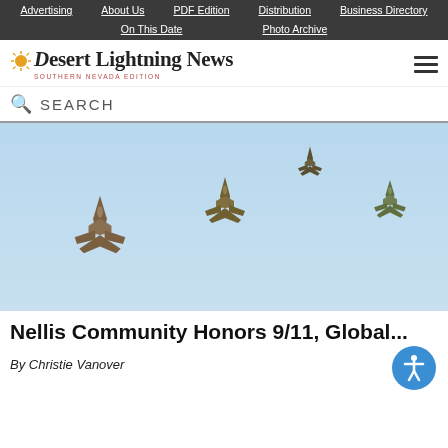Advertising | About Us | PDF Edition | Distribution | Business Directory | On This Date | Photo Archive
[Figure (logo): Desert Lightning News - Southern Nevada Edition logo with sun graphic]
SEARCH
[Figure (photo): Four military fighter jets flying in formation against a blue sky, viewed from below]
Nellis Community Honors 9/11, Global...
By Christie Vanover